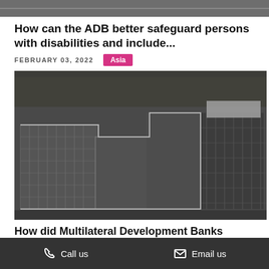[Figure (photo): Grayscale strip image at top of page, partial view of a construction or infrastructure scene]
How can the ADB better safeguard persons with disabilities and include...
FEBRUARY 03, 2022
Asia
[Figure (photo): Grayscale aerial or elevated photograph of a large building or dam construction site with scaffolding and stepped concrete structures, surrounded by hillside vegetation]
How did Multilateral Development Banks
Call us   Email us